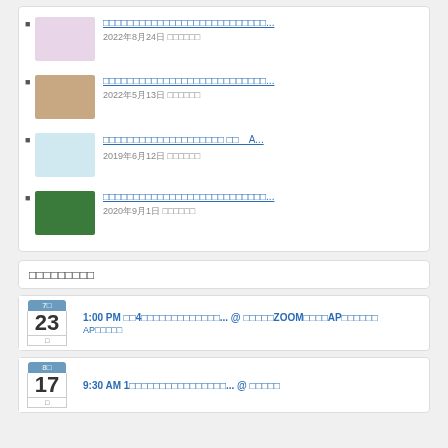2022年8月24日 □□□□□□
2022年5月13日 □□□□□□
□□□□□□□□□□□□□□□□ □□　A... 2019年6月12日 □□□□□□
2020年9月1日 □□□□□□
□□□□□□□□□
7□ 23 □ 1:00 PM □□4□□□□□□□□□□□□□... @ □□□□□ZOOM□□□□AP□□□□□□ AP□□□□□
8□ 17 □ 9:30 AM 1□□□□□□□□□□□□□□□□... @ □□□□□